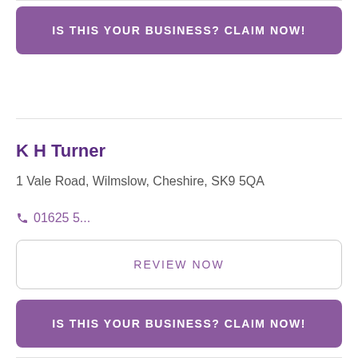IS THIS YOUR BUSINESS? CLAIM NOW!
K H Turner
1 Vale Road, Wilmslow, Cheshire, SK9 5QA
01625 5...
REVIEW NOW
IS THIS YOUR BUSINESS? CLAIM NOW!